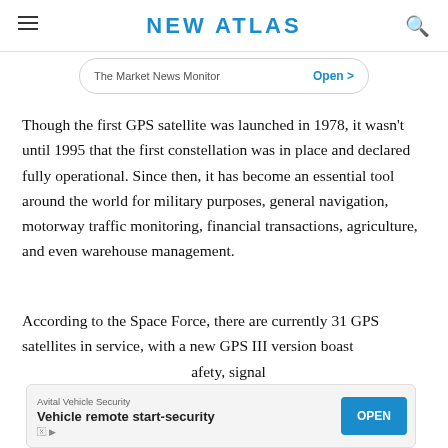NEW ATLAS
The Market News Monitor   Open >
Though the first GPS satellite was launched in 1978, it wasn't until 1995 that the first constellation was in place and declared fully operational. Since then, it has become an essential tool around the world for military purposes, general navigation, motorway traffic monitoring, financial transactions, agriculture, and even warehouse management.
According to the Space Force, there are currently 31 GPS satellites in service, with a new GPS III version boasting improved features including safety, signal...
Avital Vehicle Security
Vehicle remote start-security   OPEN